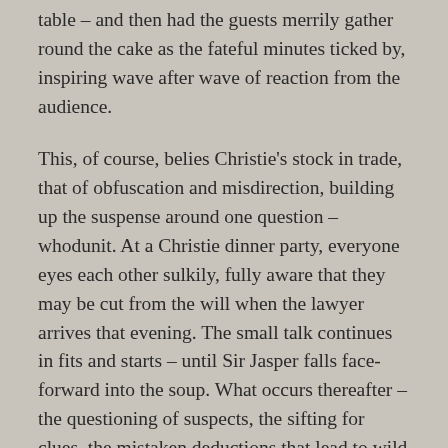table – and then had the guests merrily gather round the cake as the fateful minutes ticked by, inspiring wave after wave of reaction from the audience.
This, of course, belies Christie's stock in trade, that of obfuscation and misdirection, building up the suspense around one question –  whodunit. At a Christie dinner party, everyone eyes each other sulkily, fully aware that they may be cut from the will when the lawyer arrives that evening. The small talk continues in fits and starts – until Sir Jasper falls face-forward into the soup. What occurs thereafter – the questioning of suspects, the sifting for clues, the mistaken deductions that lead to wild goose chases – all this is intellectual and inherently uncinematic, although a few good examples do exist, including The Kennel Murder Case, Green for Danger, and Death on the Nile.